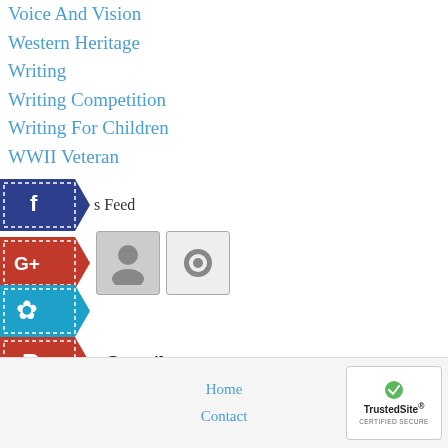Voice And Vision
Western Heritage
Writing
Writing Competition
Writing For Children
WWII Veteran
[Figure (infographic): Social media icon banners: Facebook feed, Google+, Twitter/other, Pinterest, and a link/RSS icon. Each is a colored chevron/banner shape with dashed border and white social icon inside.]
t Contributors
et Hanna
Kroetsh
Home   Contact   TrustedSite CERTIFIED SECURE